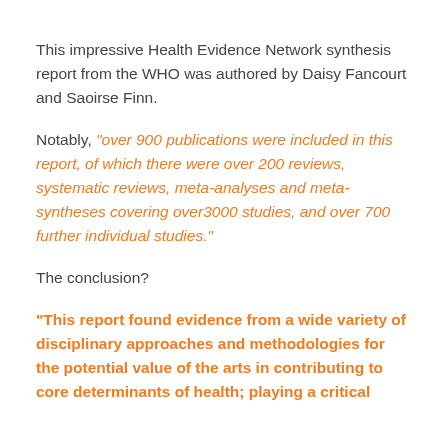This impressive Health Evidence Network synthesis report from the WHO was authored by Daisy Fancourt and Saoirse Finn.
Notably, "over 900 publications were included in this report, of which there were over 200 reviews, systematic reviews, meta-analyses and meta-syntheses covering over3000 studies, and over 700 further individual studies."
The conclusion?
“This report found evidence from a wide variety of disciplinary approaches and methodologies for the potential value of the arts in contributing to core determinants of health; playing a critical